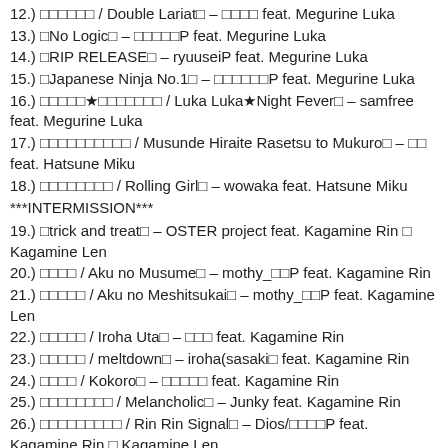12.) □□□□□□ / Double Lariat□ – □□□□ feat. Megurine Luka
13.) □No Logic□ – □□□□□P feat. Megurine Luka
14.) □RIP RELEASE□ – ryuuseiP feat. Megurine Luka
15.) □Japanese Ninja No.1□ – □□□□□□P feat. Megurine Luka
16.) □□□□□★□□□□□□□ / Luka Luka★Night Fever□ – samfree feat. Megurine Luka
17.) □□□□□□□□□□ / Musunde Hiraite Rasetsu to Mukuro□ – □□ feat. Hatsune Miku
18.) □□□□□□□□ / Rolling Girl□ – wowaka feat. Hatsune Miku
***INTERMISSION***
19.) □trick and treat□ – OSTER project feat. Kagamine Rin □ Kagamine Len
20.) □□□□ / Aku no Musume□ – mothy_□□P feat. Kagamine Rin
21.) □□□□□ / Aku no Meshitsukai□ – mothy_□□P feat. Kagamine Len
22.) □□□□□ / Iroha Uta□ – □□□ feat. Kagamine Rin
23.) □□□□□ / meltdown□ – iroha(sasaki□ feat. Kagamine Rin
24.) □□□□ / Kokoro□ – □□□□□ feat. Kagamine Rin
25.) □□□□□□□□ / Melancholic□ – Junky feat. Kagamine Rin
26.) □□□□□□□□□ / Rin Rin Signal□ – Dios/□□□□P feat. Kagamine Rin □ Kagamine Len
27.) □SPICE!□ – minato(□□P) feat. Kagamine Len
28.) □Fire◎Flower□ – halyosy feat. Kagamine Len